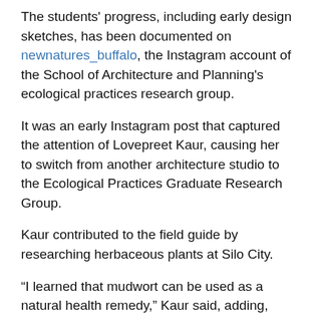The students' progress, including early design sketches, has been documented on newnatures_buffalo, the Instagram account of the School of Architecture and Planning's ecological practices research group.
It was an early Instagram post that captured the attention of Lovepreet Kaur, causing her to switch from another architecture studio to the Ecological Practices Graduate Research Group.
Kaur contributed to the field guide by researching herbaceous plants at Silo City.
“I learned that mudwort can be used as a natural health remedy,” Kaur said, adding, “Also, you will never win the war against Japanese knotweed.”
Kaur recalled what it was like spending time amidst the